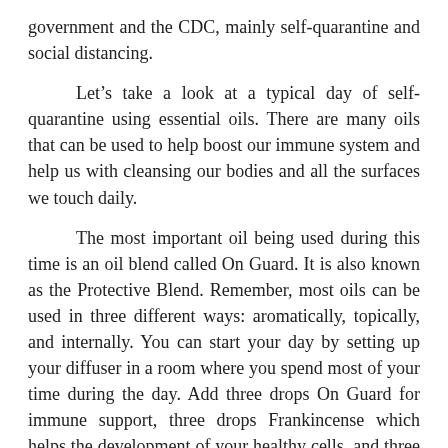government and the CDC, mainly self-quarantine and social distancing.
Let’s take a look at a typical day of self-quarantine using essential oils. There are many oils that can be used to help boost our immune system and help us with cleansing our bodies and all the surfaces we touch daily.
The most important oil being used during this time is an oil blend called On Guard. It is also known as the Protective Blend. Remember, most oils can be used in three different ways: aromatically, topically, and internally. You can start your day by setting up your diffuser in a room where you spend most of your time during the day. Add three drops On Guard for immune support, three drops Frankincense which helps the development of your healthy cells, and three drops Breathe, the Respiratory Blend, which keeps your nasal passages clear and helps with chest decongestion. This aromatic use of the oil is recommended to use the entire day.